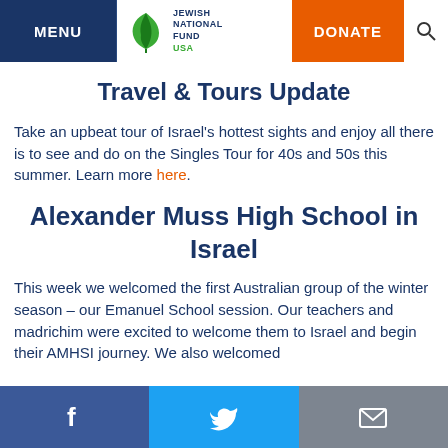MENU | Jewish National Fund USA | DONATE
Travel & Tours Update
Take an upbeat tour of Israel's hottest sights and enjoy all there is to see and do on the Singles Tour for 40s and 50s this summer. Learn more here.
Alexander Muss High School in Israel
This week we welcomed the first Australian group of the winter season – our Emanuel School session. Our teachers and madrichim were excited to welcome them to Israel and begin their AMHSI journey. We also welcomed
Facebook | Twitter | Email